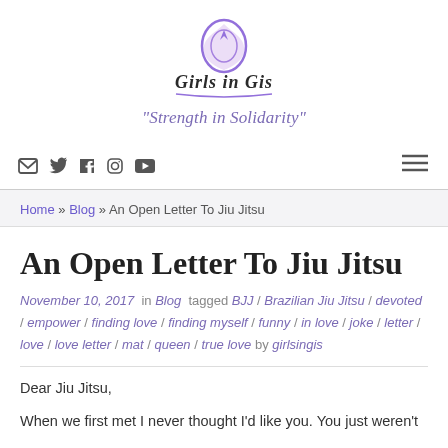[Figure (logo): Girls in Gis logo with purple decorative emblem and stylized script text]
"Strength in Solidarity"
Social icons: email, twitter, facebook, instagram, youtube | Hamburger menu
Home » Blog » An Open Letter To Jiu Jitsu
An Open Letter To Jiu Jitsu
November 10, 2017 in Blog tagged BJJ / Brazilian Jiu Jitsu / devoted / empower / finding love / finding myself / funny / in love / joke / letter / love / love letter / mat / queen / true love by girlsingis
Dear Jiu Jitsu,
When we first met I never thought I'd like you. You just weren't